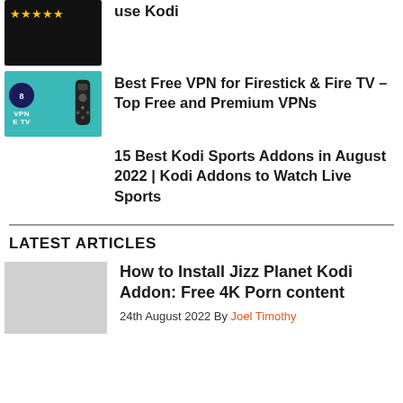[Figure (screenshot): Dark thumbnail with yellow star rating]
use Kodi
[Figure (screenshot): Teal thumbnail with VPN Fire TV branding and remote]
Best Free VPN for Firestick & Fire TV – Top Free and Premium VPNs
15 Best Kodi Sports Addons in August 2022 | Kodi Addons to Watch Live Sports
LATEST ARTICLES
[Figure (screenshot): Grey thumbnail placeholder]
How to Install Jizz Planet Kodi Addon: Free 4K Porn content
24th August 2022 By Joel Timothy